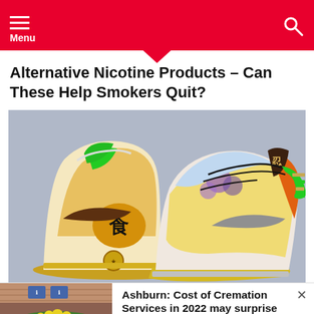Menu
Alternative Nicotine Products – Can These Help Smokers Quit?
[Figure (photo): Two colorful limited-edition Nike sneakers (featuring Asian characters and multi-color floral/graphic design) displayed on a gray background. One shoe is shown from the heel, the other from the side showing a swoosh.]
[Figure (photo): Advertisement thumbnail showing a funeral parlor interior with floral arrangements and a casket, used for a cremation services ad.]
Ashburn: Cost of Cremation Services in 2022 may surprise you
Cremation Services | Search Ads | Sponsored